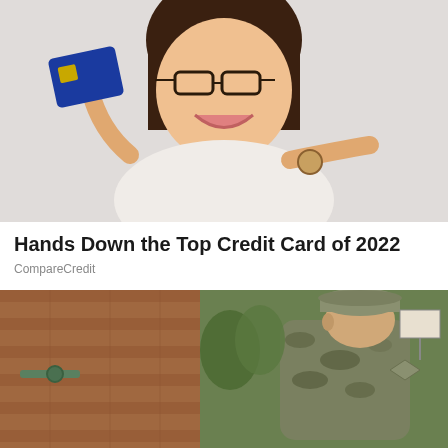[Figure (photo): Woman with glasses smiling and pointing at a blue credit card she is holding up]
Hands Down the Top Credit Card of 2022
CompareCredit
[Figure (photo): Military soldier in camouflage uniform leaning against a brick wall near some pipes]